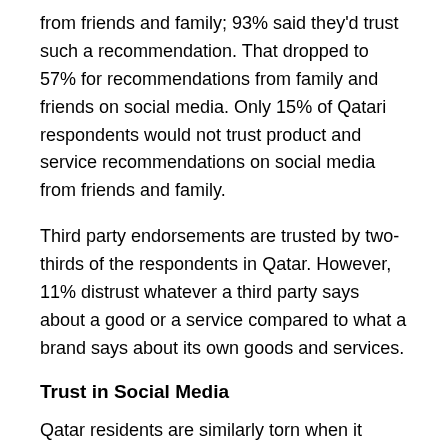from friends and family; 93% said they'd trust such a recommendation. That dropped to 57% for recommendations from family and friends on social media. Only 15% of Qatari respondents would not trust product and service recommendations on social media from friends and family.
Third party endorsements are trusted by two-thirds of the respondents in Qatar. However, 11% distrust whatever a third party says about a good or a service compared to what a brand says about its own goods and services.
Trust in Social Media
Qatar residents are similarly torn when it comes to trusting product and service recommendations from social media influencers or people with large numbers of followers. Roughly 39% do trust such recommendations, whereas